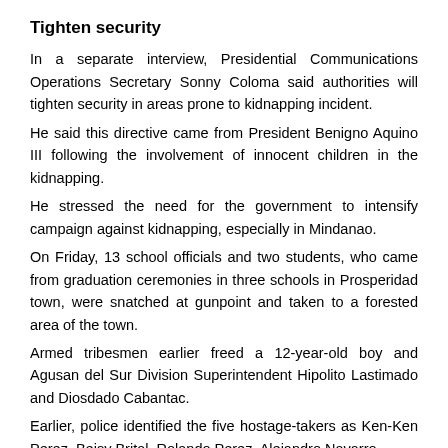Tighten security
In a separate interview, Presidential Communications Operations Secretary Sonny Coloma said authorities will tighten security in areas prone to kidnapping incident.
He said this directive came from President Benigno Aquino III following the involvement of innocent children in the kidnapping.
He stressed the need for the government to intensify campaign against kidnapping, especially in Mindanao.
On Friday, 13 school officials and two students, who came from graduation ceremonies in three schools in Prosperidad town, were snatched at gunpoint and taken to a forested area of the town.
Armed tribesmen earlier freed a 12-year-old boy and Agusan del Sur Division Superintendent Hipolito Lastimado and Diosdado Cabantac.
Earlier, police identified the five hostage-takers as Ken-Ken Perez, Beisy Brital, Rolando Perez, Alejandro Navarro,